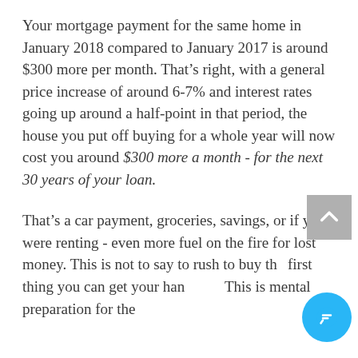Your mortgage payment for the same home in January 2018 compared to January 2017 is around $300 more per month. That's right, with a general price increase of around 6-7% and interest rates going up around a half-point in that period, the house you put off buying for a whole year will now cost you around $300 more a month - for the next 30 years of your loan.
That's a car payment, groceries, savings, or if you were renting - even more fuel on the fire for lost money. This is not to say to rush to buy the first thing you can get your hands on. This is mental preparation for the